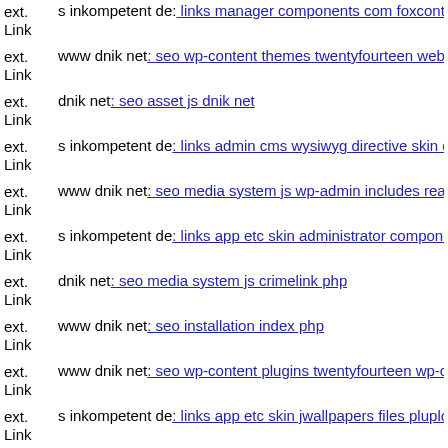ext. Link s inkompetent de: links manager components com foxcontact s...
ext. Link www dnik net: seo wp-content themes twentyfourteen webwm...
ext. Link dnik net: seo asset js dnik net
ext. Link s inkompetent de: links admin cms wysiwyg directive skin dow...
ext. Link www dnik net: seo media system js wp-admin includes readme...
ext. Link s inkompetent de: links app etc skin administrator components...
ext. Link dnik net: seo media system js crimelink php
ext. Link www dnik net: seo installation index php
ext. Link www dnik net: seo wp-content plugins twentyfourteen wp-cont...
ext. Link s inkompetent de: links app etc skin jwallpapers files plupload...
ext. Link dnik net: seo media components com hwdvideoshare assets git...
ext. Link dnik net: seo js tinymce components git head